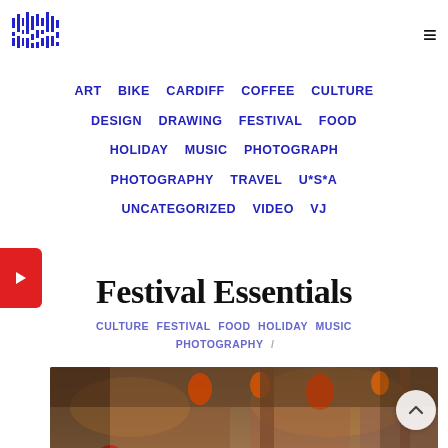[Figure (logo): Blue pixelated/barcode-style logo in top left]
≡ (hamburger menu icon)
ART  BIKE  CARDIFF  COFFEE  CULTURE  DESIGN  DRAWING  FESTIVAL  FOOD  HOLIDAY  MUSIC  PHOTOGRAPH  PHOTOGRAPHY  TRAVEL  U*S*A  UNCATEGORIZED  VIDEO  VJ
Festival Essentials
CULTURE  FESTIVAL  FOOD  HOLIDAY  MUSIC  PHOTOGRAPHY /
[Figure (photo): Outdoor festival market scene with people, vendor stalls, palm trees, and lanterns in warm light]